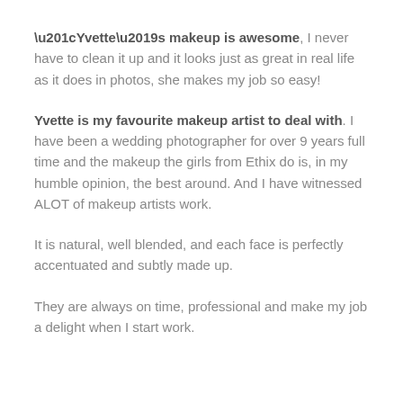“Yvette’s makeup is awesome, I never have to clean it up and it looks just as great in real life as it does in photos, she makes my job so easy!
Yvette is my favourite makeup artist to deal with. I have been a wedding photographer for over 9 years full time and the makeup the girls from Ethix do is, in my humble opinion, the best around. And I have witnessed ALOT of makeup artists work.
It is natural, well blended, and each face is perfectly accentuated and subtly made up.
They are always on time, professional and make my job a delight when I start work.